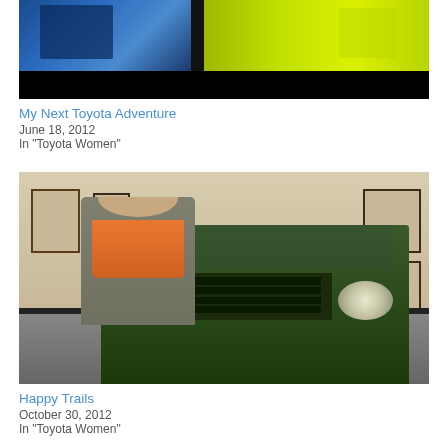[Figure (photo): Partial photo at top showing people in racing gear, blue and yellow-green colors with a dark bar at bottom]
My Next Toyota Adventure
June 18, 2012
In "Toyota Women"
[Figure (photo): Woman with short dark hair and orange scarf standing next to a dark green vintage Toyota vehicle in a museum-like room with framed pictures on the walls]
Happy Trails
October 30, 2012
In "Toyota Women"
[Figure (photo): Partial photo at the bottom of the page, dark colored]